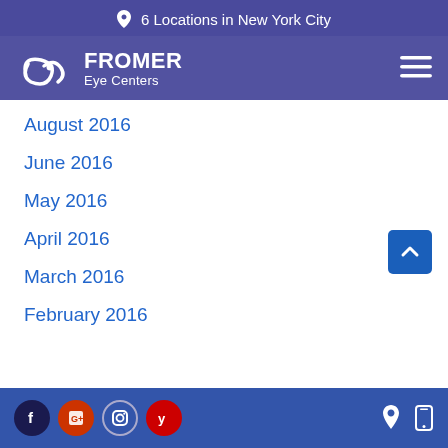6 Locations in New York City
[Figure (logo): Fromer Eye Centers logo with swirl icon and text]
August 2016
June 2016
May 2016
April 2016
March 2016
February 2016
Social media icons: Facebook, Google, Instagram, Yelp | Location and mobile icons